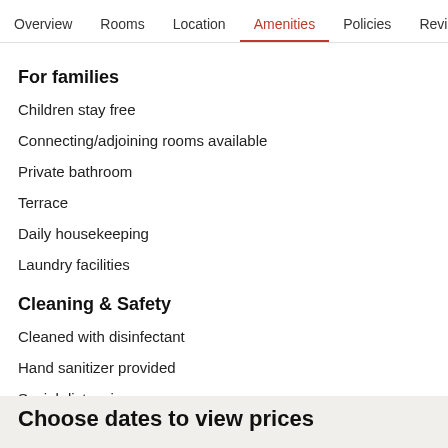Overview  Rooms  Location  Amenities  Policies  Reviews
For families
Children stay free
Connecting/adjoining rooms available
Private bathroom
Terrace
Daily housekeeping
Laundry facilities
Cleaning & Safety
Cleaned with disinfectant
Hand sanitizer provided
Social distancing
Individually-wrapped food options
Choose dates to view prices